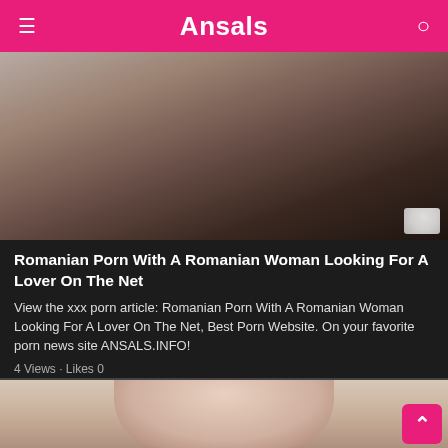Ansals
[Figure (photo): Close-up explicit adult content image, top article thumbnail]
Romanian Porn With A Romanian Woman Looking For A Lover On The Net
View the xxx porn article: Romanian Porn With A Romanian Woman Looking For A Lover On The Net, Best Porn Website. On your favorite porn news site ANSALS.INFO!
4 Views · Likes 0
[Figure (photo): Second article thumbnail showing a person's face, partially visible]